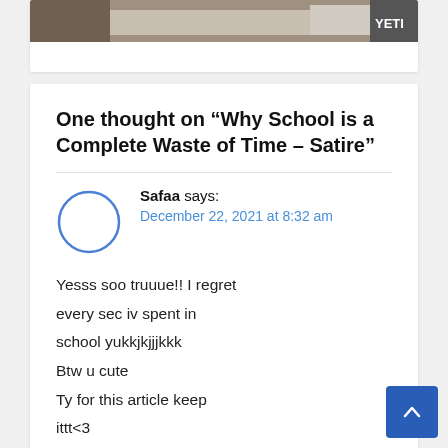[Figure (photo): Partial top of a photo showing a desk/table scene with a YETI branded item visible]
One thought on “Why School is a Complete Waste of Time – Satire”
Safaa says:
December 22, 2021 at 8:32 am
Yesss soo truuue!! I regret every sec iv spent in school yukkjkjjjkkk
Btw u cute
Ty for this article keep ittt<3